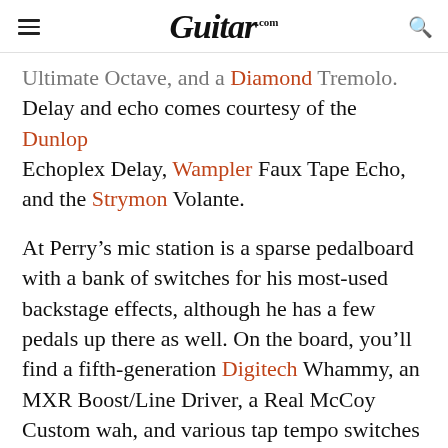Guitar.com
Ultimate Octave, and a Diamond Tremolo. Delay and echo comes courtesy of the Dunlop Echoplex Delay, Wampler Faux Tape Echo, and the Strymon Volante.
At Perry's mic station is a sparse pedalboard with a bank of switches for his most-used backstage effects, although he has a few pedals up there as well. On the board, you'll find a fifth-generation Digitech Whammy, an MXR Boost/Line Driver, a Real McCoy Custom wah, and various tap tempo switches for his time-based effects. There's a cup filled with